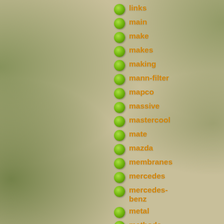links
main
make
makes
making
mann-filter
mapco
massive
mastercool
mate
mazda
membranes
mercedes
mercedes-benz
metal
methods
meyle
millennial